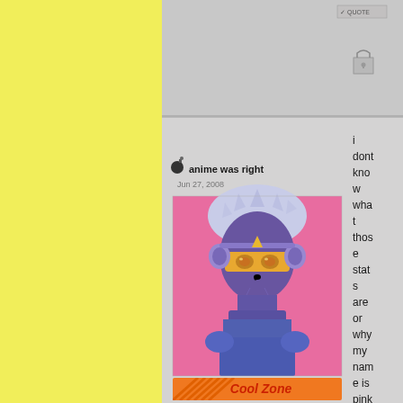[Figure (screenshot): Forum page screenshot showing a yellow left sidebar, a gray panel on the right with a forum post by user 'anime was right' dated Jun 27, 2008. The post contains an avatar image of an anime-style character with white/blue hair, purple skin, wearing a mask and headphones against a pink background. Below the avatar are the words 'death is certain keep yr cool' and a 'Cool Zone' logo/banner. To the right of the post, text reads 'i dont kno w wha t thos e stat s are or why my nam e is pink , but i'. The top right shows a quote button and a lock icon.]